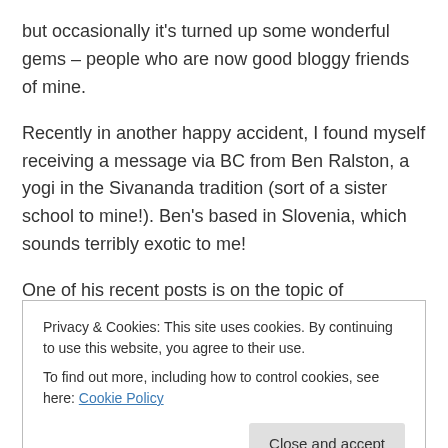but occasionally it's turned up some wonderful gems – people who are now good bloggy friends of mine.
Recently in another happy accident, I found myself receiving a message via BC from Ben Ralston, a yogi in the Sivananda tradition (sort of a sister school to mine!). Ben's based in Slovenia, which sounds terribly exotic to me!
One of his recent posts is on the topic of Grounded Spirituality.
Privacy & Cookies: This site uses cookies. By continuing to use this website, you agree to their use.
To find out more, including how to control cookies, see here: Cookie Policy
Close and accept